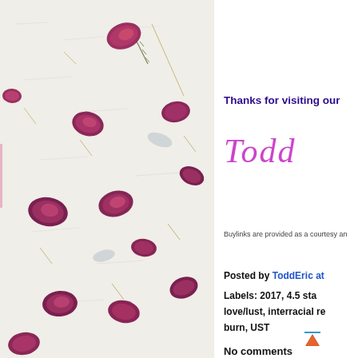[Figure (photo): Decorative background photo showing pressed flower petals (dark red/burgundy) and grass/leaf stems on a white textured paper background]
Thanks for visiting our
Todd
Buylinks are provided as a courtesy an
Posted by ToddEric at
Labels: 2017, 4.5 sta
love/lust, interracial re
burn, UST
No comments